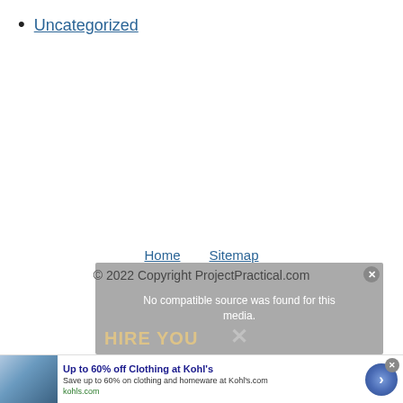Uncategorized
Home   Sitemap
© 2022 Copyright ProjectPractical.com
[Figure (screenshot): Partially visible video overlay with text 'No compatible source was found for this media.' and background text 'HIRE YOU' with an X close button]
[Figure (screenshot): Advertisement banner: 'Up to 60% off Clothing at Kohl's' with subtext 'Save up to 60% on clothing and homeware at Kohl's.com' and url 'kohls.com', with a circular blue CTA arrow button]